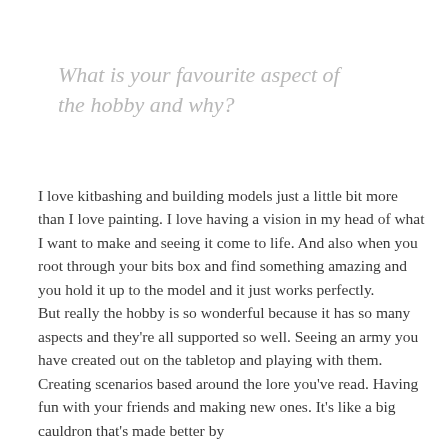What is your favourite aspect of the hobby and why?
I love kitbashing and building models just a little bit more than I love painting. I love having a vision in my head of what I want to make and seeing it come to life. And also when you root through your bits box and find something amazing and you hold it up to the model and it just works perfectly.
But really the hobby is so wonderful because it has so many aspects and they're all supported so well. Seeing an army you have created out on the tabletop and playing with them. Creating scenarios based around the lore you've read. Having fun with your friends and making new ones. It's like a big cauldron that's made better by